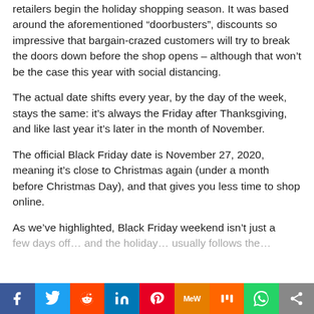retailers begin the holiday shopping season. It was based around the aforementioned “doorbusters”, discounts so impressive that bargain-crazed customers will try to break the doors down before the shop opens – although that won’t be the case this year with social distancing.
The actual date shifts every year, by the day of the week, stays the same: it’s always the Friday after Thanksgiving, and like last year it’s later in the month of November.
The official Black Friday date is November 27, 2020, meaning it’s close to Christmas again (under a month before Christmas Day), and that gives you less time to shop online.
As we’ve highlighted, Black Friday weekend isn’t just a few days off… and the holiday… usually follows the…
Social share bar: Facebook, Twitter, Reddit, LinkedIn, Pinterest, MeWe, Mix, WhatsApp, Share